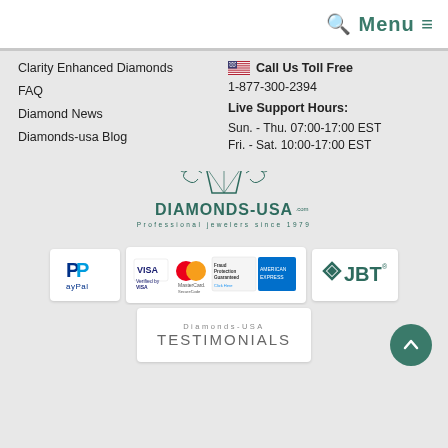Menu
Clarity Enhanced Diamonds
FAQ
Diamond News
Diamonds-usa Blog
Call Us Toll Free
1-877-300-2394
Live Support Hours:
Sun. - Thu. 07:00-17:00 EST
Fri. - Sat. 10:00-17:00 EST
[Figure (logo): Diamonds-USA logo with diamond graphic and text 'Professional jewelers since 1979']
[Figure (logo): PayPal logo]
[Figure (logo): Visa Verified, MasterCard SecureCode, Fraud Protection Guaranteed, American Express logos]
[Figure (logo): JBT logo]
[Figure (other): Diamonds-USA Testimonials badge]